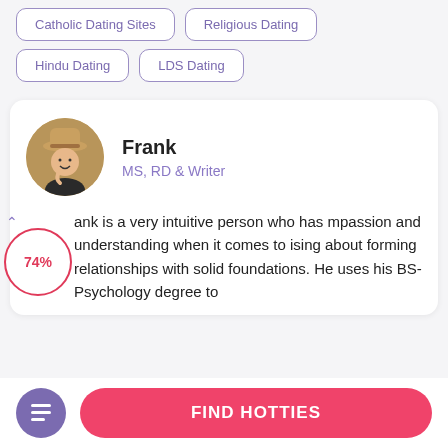Catholic Dating Sites
Religious Dating
Hindu Dating
LDS Dating
[Figure (photo): Circular avatar photo of Frank, a man wearing a straw hat, smiling, in casual attire]
Frank
MS, RD & Writer
ank is a very intuitive person who has mpassion and understanding when it comes to ising about forming relationships with solid foundations. He uses his BS-Psychology degree to
74%
FIND HOTTIES